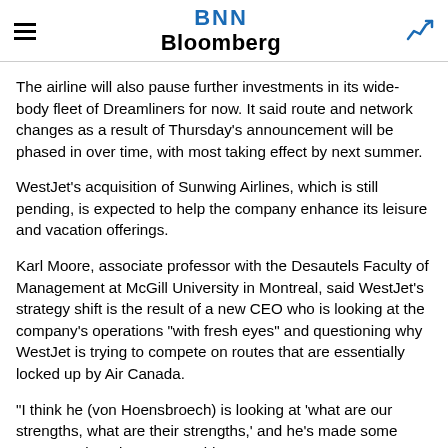BNN Bloomberg
The airline will also pause further investments in its wide-body fleet of Dreamliners for now. It said route and network changes as a result of Thursday's announcement will be phased in over time, with most taking effect by next summer.
WestJet's acquisition of Sunwing Airlines, which is still pending, is expected to help the company enhance its leisure and vacation offerings.
Karl Moore, associate professor with the Desautels Faculty of Management at McGill University in Montreal, said WestJet's strategy shift is the result of a new CEO who is looking at the company's operations "with fresh eyes" and questioning why WestJet is trying to compete on routes that are essentially locked up by Air Canada.
"I think he (von Hoensbroech) is looking at 'what are our strengths, what are their strengths,' and he's made some guesses about it," Moore said.